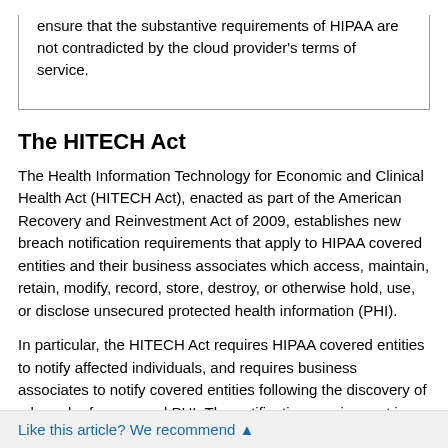ensure that the substantive requirements of HIPAA are not contradicted by the cloud provider's terms of service.
The HITECH Act
The Health Information Technology for Economic and Clinical Health Act (HITECH Act), enacted as part of the American Recovery and Reinvestment Act of 2009, establishes new breach notification requirements that apply to HIPAA covered entities and their business associates which access, maintain, retain, modify, record, store, destroy, or otherwise hold, use, or disclose unsecured protected health information (PHI).
In particular, the HITECH Act requires HIPAA covered entities to notify affected individuals, and requires business associates to notify covered entities following the discovery of a breach of unsecured PHI. The notification requirement is only triggered if the breach poses a significant risk of financial, reputational, or other harm to the affected individual.
Like this article? We recommend